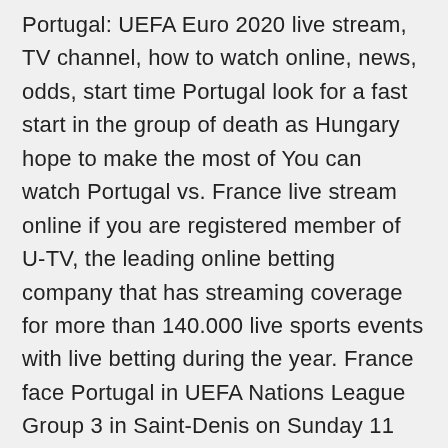Portugal: UEFA Euro 2020 live stream, TV channel, how to watch online, news, odds, start time Portugal look for a fast start in the group of death as Hungary hope to make the most of You can watch Portugal vs. France live stream online if you are registered member of U-TV, the leading online betting company that has streaming coverage for more than 140.000 live sports events with live betting during the year. France face Portugal in UEFA Nations League Group 3 in Saint-Denis on Sunday 11 October at 20:45 CET. France vs Portugal: live build-up Where to watch the game on TV International Friendly: How to watch France vs Bulgaria live June 8, 2021 France will look to draw the curtains on their Euro preparations by hosting Bulgaria on Tuesday. CONCACAF Nations League final, Spain vs Portugal headline our top live games for June 4-10, 2021 USA vs Mexico, Spain vs Portugal, Brazil vs